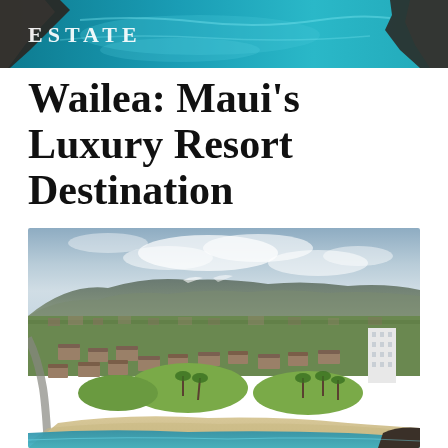ESTATE
[Figure (photo): Aerial view of coastal cliffs and turquoise ocean water, partial header image]
Wailea: Maui’s Luxury Resort Destination
[Figure (photo): Aerial drone photograph of Wailea resort area on Maui, showing resort buildings, green lawns, palm trees, beach, ocean, and Haleakala volcano in the background under cloudy sky]